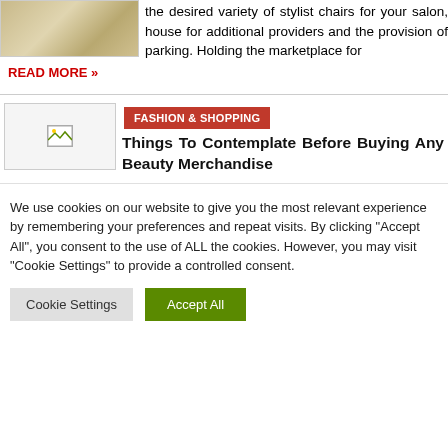[Figure (photo): Partial image of a surface with beige/tan mottled texture, cropped at top-left]
the desired variety of stylist chairs for your salon, house for additional providers and the provision of parking. Holding the marketplace for
READ MORE »
[Figure (photo): Small thumbnail image placeholder with broken image icon]
FASHION & SHOPPING
Things To Contemplate Before Buying Any Beauty Merchandise
We use cookies on our website to give you the most relevant experience by remembering your preferences and repeat visits. By clicking "Accept All", you consent to the use of ALL the cookies. However, you may visit "Cookie Settings" to provide a controlled consent.